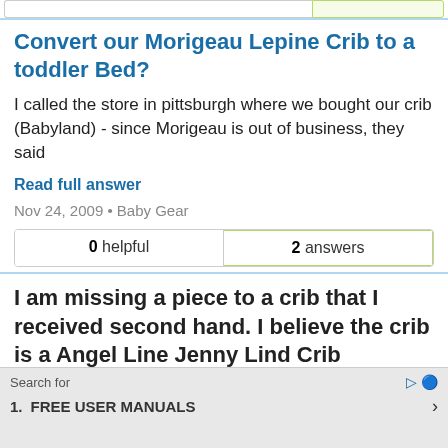Convert our Morigeau Lepine Crib to a toddler Bed?
I called the store in pittsburgh where we bought our crib (Babyland) - since Morigeau is out of business, they said
Read full answer
Nov 24, 2009 • Baby Gear
| 0 helpful | 2 answers |
I am missing a piece to a crib that I received second hand. I believe the crib is a Angel Line Jenny Lind Crib according to design matches I've researched. The possible model # is 4
Search for
1. FREE USER MANUALS